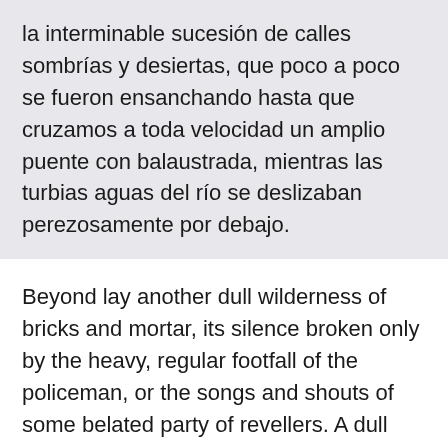la interminable sucesión de calles sombrías y desiertas, que poco a poco se fueron ensanchando hasta que cruzamos a toda velocidad un amplio puente con balaustrada, mientras las turbias aguas del río se deslizaban perezosamente por debajo.
Beyond lay another dull wilderness of bricks and mortar, its silence broken only by the heavy, regular footfall of the policeman, or the songs and shouts of some belated party of revellers. A dull wrack was drifting slowly across the sky, and a star or two twinkled dimly here and there through the rifts of the clouds. Holmes drove in silence, with his head sunk upon his breast, and the air of a man who is lost in thought, while I sat beside him, curious to learn what this new quest might be which seemed to tow his